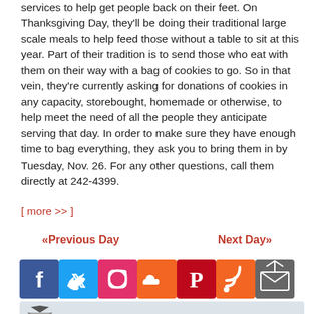services to help get people back on their feet. On Thanksgiving Day, they'll be doing their traditional large scale meals to help feed those without a table to sit at this year. Part of their tradition is to send those who eat with them on their way with a bag of cookies to go. So in that vein, they're currently asking for donations of cookies in any capacity, storebought, homemade or otherwise, to help meet the need of all the people they anticipate serving that day. In order to make sure they have enough time to bag everything, they ask you to bring them in by Tuesday, Nov. 26. For any other questions, call them directly at 242-4399.
[ more >> ]
«Previous Day
Next Day»
[Figure (infographic): Row of social media icon buttons: Facebook (blue), Twitter (light blue), Instagram (pink/red gradient), SoundCloud (orange), Pinterest (red), RSS (orange), Email/newsletter (dark grey)]
NEWSLETTERS Great Alibi stories,